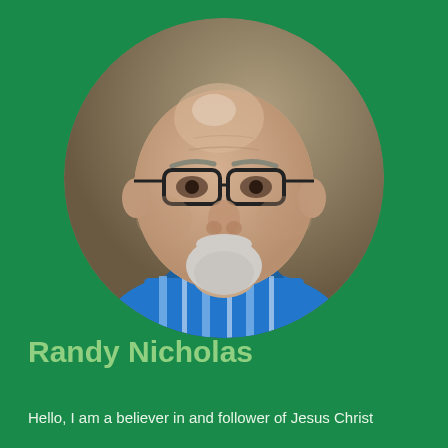[Figure (photo): Circular portrait photo of a bald older man with glasses and a white goatee, wearing a blue striped collared shirt, against a brownish background.]
Randy Nicholas
Hello, I am a believer in and follower of Jesus Christ